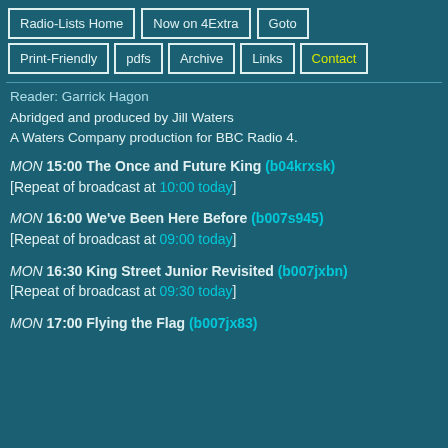Radio-Lists Home | Now on 4Extra | Goto | Print-Friendly | pdfs | Archive | Links | Contact
Reader: Garrick Hagon
Abridged and produced by Jill Waters
A Waters Company production for BBC Radio 4.
MON 15:00 The Once and Future King (b04krxsk)
[Repeat of broadcast at 10:00 today]
MON 16:00 We've Been Here Before (b007s945)
[Repeat of broadcast at 09:00 today]
MON 16:30 King Street Junior Revisited (b007jxbn)
[Repeat of broadcast at 09:30 today]
MON 17:00 Flying the Flag (b007jx83)